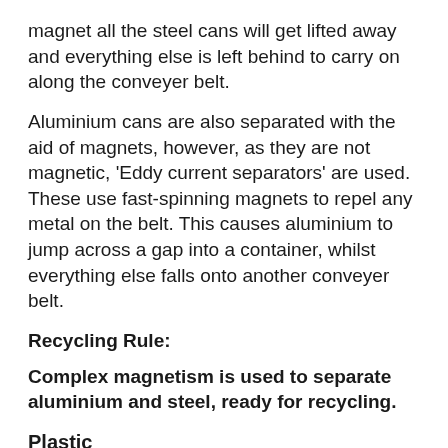magnet all the steel cans will get lifted away and everything else is left behind to carry on along the conveyer belt.
Aluminium cans are also separated with the aid of magnets, however, as they are not magnetic, 'Eddy current separators' are used. These use fast-spinning magnets to repel any metal on the belt. This causes aluminium to jump across a gap into a container, whilst everything else falls onto another conveyer belt.
Recycling Rule:
Complex magnetism is used to separate aluminium and steel, ready for recycling.
Plastic
Plastic packaging comes in many forms and is marked with a code from 1-7 which tells you which plastic material it is. This also helps the recycler. Mixing plastic types will give a very low-quality product so it is important for plastics to be sorted based on their